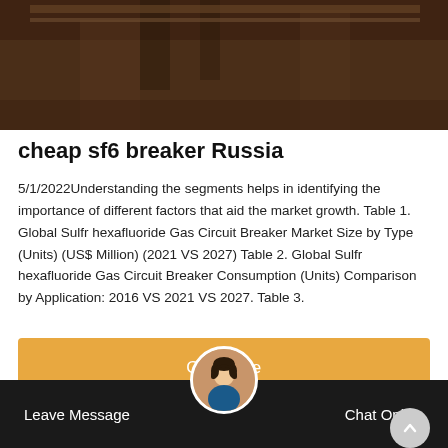[Figure (photo): Dark brown industrial/factory interior photo at the top of the page]
cheap sf6 breaker Russia
5/1/2022Understanding the segments helps in identifying the importance of different factors that aid the market growth. Table 1. Global Sulfr hexafluoride Gas Circuit Breaker Market Size by Type (Units) (US$ Million) (2021 VS 2027) Table 2. Global Sulfr hexafluoride Gas Circuit Breaker Consumption (Units) Comparison by Application: 2016 VS 2021 VS 2027. Table 3.
Get Price
Leave Message    Chat Online